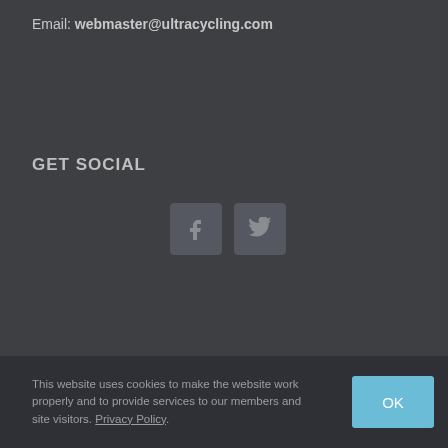Email: webmaster@ultracycling.com
GET SOCIAL
[Figure (other): Two social media icon buttons: Facebook (f) and Twitter (bird icon), dark rounded square buttons on dark background]
This website uses cookies to make the website work properly and to provide services to our members and site visitors. Privacy Policy.
OK